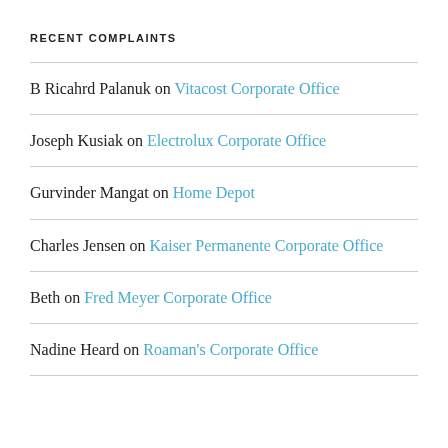RECENT COMPLAINTS
B Ricahrd Palanuk on Vitacost Corporate Office
Joseph Kusiak on Electrolux Corporate Office
Gurvinder Mangat on Home Depot
Charles Jensen on Kaiser Permanente Corporate Office
Beth on Fred Meyer Corporate Office
Nadine Heard on Roaman's Corporate Office